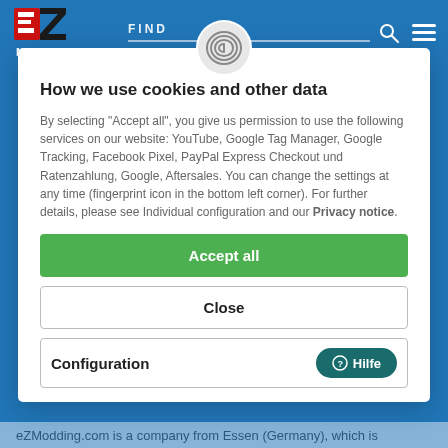[Figure (logo): EZ Modding logo with red E, black Z, and MODDING text below]
FIND (search bar with search icon and hamburger menu)
How we use cookies and other data
By selecting "Accept all", you give us permission to use the following services on our website: YouTube, Google Tag Manager, Google Tracking, Facebook Pixel, PayPal Express Checkout und Ratenzahlung, Google, Aftersales. You can change the settings at any time (fingerprint icon in the bottom left corner). For further details, please see Individual configuration and our Privacy notice.
Accept all
Close
Configuration
Hilfe
eZModding.com is a company from Essen (Germany), which is